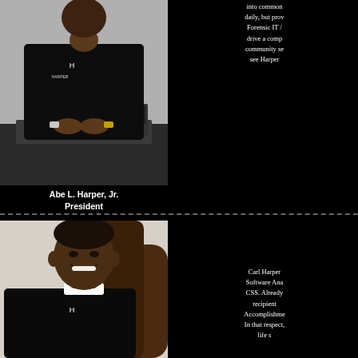[Figure (photo): Photo of Abe L. Harper, Jr., sitting at a desk with hands clasped, wearing a dark Harper-branded jacket]
into common daily, but prov Forensic IT / drive a comp community se see Harper
Abe L. Harper, Jr.
President
[Figure (photo): Photo of Carl Harper smiling, wearing a dark Harper-branded jacket, seated in a leather chair]
Carl Harper Software Ana CSS. Already recipient Accomplishme In that respect, life s